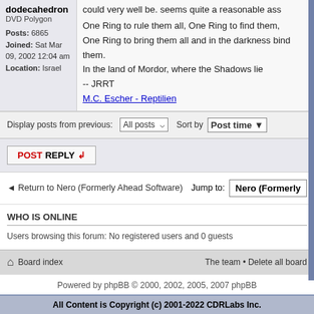dodecahedron
DVD Polygon
Posts: 6865
Joined: Sat Mar 09, 2002 12:04 am
Location: Israel
could very well be. seems quite a reasonable ass
One Ring to rule them all, One Ring to find them,
One Ring to bring them all and in the darkness bind them.
In the land of Mordor, where the Shadows lie
-- JRRT
M.C. Escher - Reptilien
Display posts from previous: All posts Sort by Post time
POSTREPLY
Return to Nero (Formerly Ahead Software) Jump to: Nero (Formerly
WHO IS ONLINE
Users browsing this forum: No registered users and 0 guests
Board index The team • Delete all board
Powered by phpBB © 2000, 2002, 2005, 2007 phpBB
All Content is Copyright (c) 2001-2022 CDRLabs Inc.